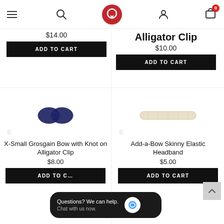Navigation bar with menu, search, logo, account, and cart (0 items)
$14.00
ADD TO CART
Alligator Clip
$10.00
ADD TO CART
[Figure (photo): Navy blue grosgrain bow with knot product photo]
X-Small Grosgain Bow with Knot on Alligator Clip
$8.00
ADD TO CART
[Figure (photo): Add-a-Bow Skinny Elastic Headband product photo, beige/white]
Add-a-Bow Skinny Elastic Headband
$5.00
ADD TO CART
Questions? We can help. Chat with us now.